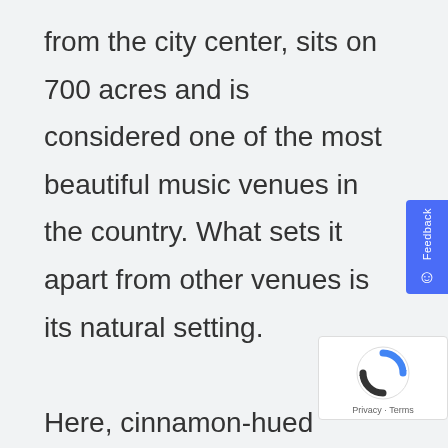from the city center, sits on 700 acres and is considered one of the most beautiful music venues in the country. What sets it apart from other venues is its natural setting.
Here, cinnamon-hued sandstone rocks jut out from either side of the stage to form a natural amphitheater. In addition, you enjoy a 1.4-mile hike that meanders